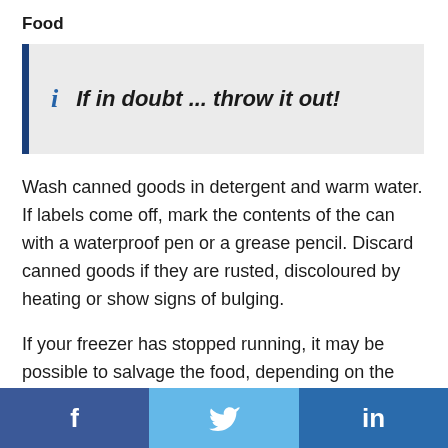Food
If in doubt … throw it out!
Wash canned goods in detergent and warm water. If labels come off, mark the contents of the can with a waterproof pen or a grease pencil. Discard canned goods if they are rusted, discoloured by heating or show signs of bulging.
If your freezer has stopped running, it may be possible to salvage the food, depending on the severity of the fire, its proximity to the freezer, the
f  (Facebook)    (Twitter)    in (LinkedIn)